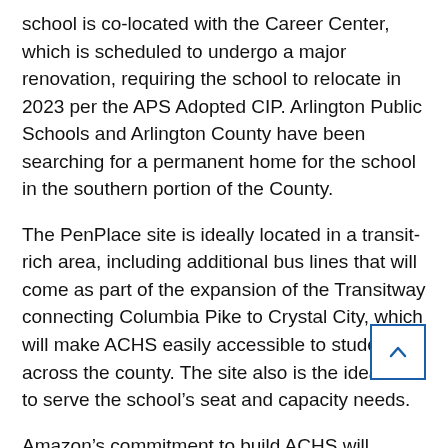school is co-located with the Career Center, which is scheduled to undergo a major renovation, requiring the school to relocate in 2023 per the APS Adopted CIP. Arlington Public Schools and Arlington County have been searching for a permanent home for the school in the southern portion of the County.
The PenPlace site is ideally located in a transit-rich area, including additional bus lines that will come as part of the expansion of the Transitway connecting Columbia Pike to Crystal City, which will make ACHS easily accessible to students across the county. The site also is the ideal size to serve the school's seat and capacity needs.
Amazon's commitment to build ACHS will reduce the overall operating and capital cost long term for Arlington Public Schools.
“Since selecting Arlington as our HQ2, it has been important to us that our development benefits the entire